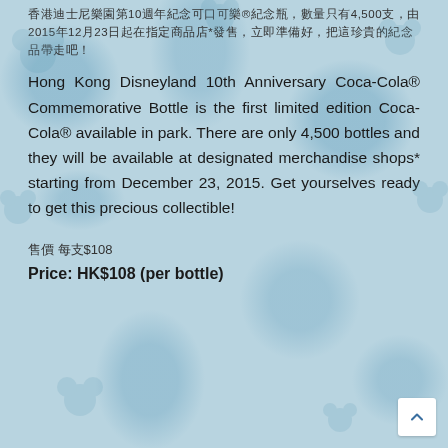香港迪士尼樂園10週年紀念可口可樂®紀念瓶是首款在樂園內發售的限量版可口可樂®，數量只有4,500支，由2015年12月23日起在指定商品店*發售，立即準備好，把這珍貴的紀念品帶走吧！
Hong Kong Disneyland 10th Anniversary Coca-Cola® Commemorative Bottle is the first limited edition Coca-Cola® available in park. There are only 4,500 bottles and they will be available at designated merchandise shops* starting from December 23, 2015. Get yourselves ready to get this precious collectible!
售價 每支$108
Price: HK$108 (per bottle)